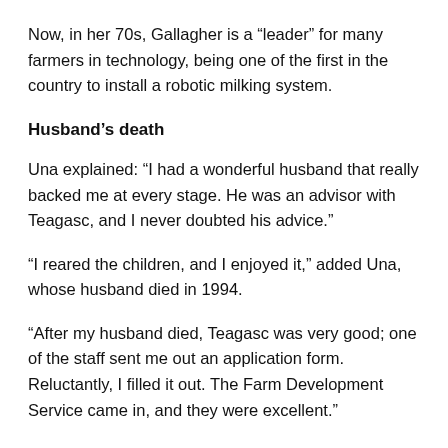Now, in her 70s, Gallagher is a “leader” for many farmers in technology, being one of the first in the country to install a robotic milking system.
Husband’s death
Una explained: “I had a wonderful husband that really backed me at every stage. He was an advisor with Teagasc, and I never doubted his advice.”
“I reared the children, and I enjoyed it,” added Una, whose husband died in 1994.
“After my husband died, Teagasc was very good; one of the staff sent me out an application form. Reluctantly, I filled it out. The Farm Development Service came in, and they were excellent.”